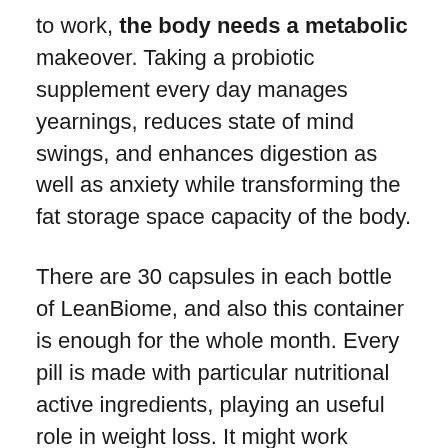to work, the body needs a metabolic makeover. Taking a probiotic supplement every day manages yearnings, reduces state of mind swings, and enhances digestion as well as anxiety while transforming the fat storage space capacity of the body.
There are 30 capsules in each bottle of LeanBiome, and also this container is enough for the whole month. Every pill is made with particular nutritional active ingredients, playing an useful role in weight loss. It might work without diet and also workout, but the faster outcomes are observed when the supplement is made use of along with a healthy diet plan and energetic lifestyle.